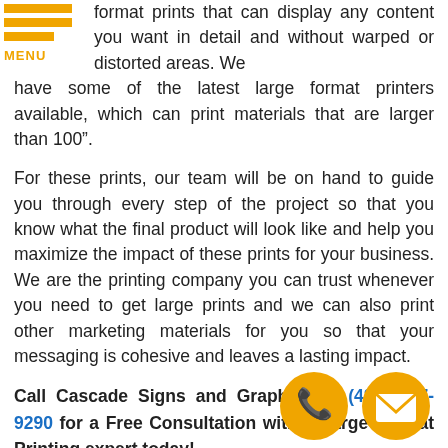[Figure (logo): Orange hamburger menu icon with three horizontal bars and MENU label below]
format prints that can display any content you want in detail and without warped or distorted areas. We have some of the latest large format printers available, which can print materials that are larger than 100".
For these prints, our team will be on hand to guide you through every step of the project so that you know what the final product will look like and help you maximize the impact of these prints for your business. We are the printing company you can trust whenever you need to get large prints and we can also print other marketing materials for you so that your messaging is cohesive and leaves a lasting impact.
Call Cascade Signs and Graphics at (425) 527-9290 for a Free Consultation with a Large Format Printing expert today!
Wide Format Banners
Wide format banners are the most common promotional
[Figure (illustration): Orange phone icon circle button]
[Figure (illustration): Orange email/envelope icon circle button]